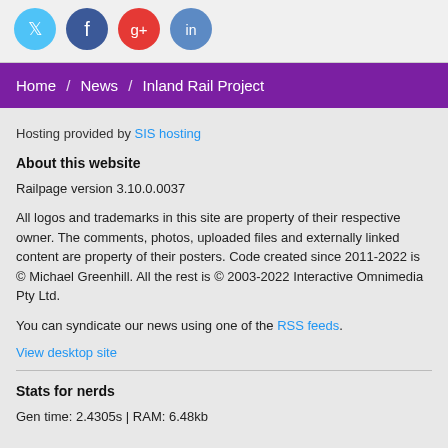[Figure (illustration): Social media icon buttons: Twitter (blue), Facebook (dark blue), Google+ (red), LinkedIn (blue) — circular icons displayed in a row]
Home / News / Inland Rail Project
Hosting provided by SIS hosting
About this website
Railpage version 3.10.0.0037
All logos and trademarks in this site are property of their respective owner. The comments, photos, uploaded files and externally linked content are property of their posters. Code created since 2011-2022 is © Michael Greenhill. All the rest is © 2003-2022 Interactive Omnimedia Pty Ltd.
You can syndicate our news using one of the RSS feeds.
View desktop site
Stats for nerds
Gen time: 2.4305s | RAM: 6.48kb